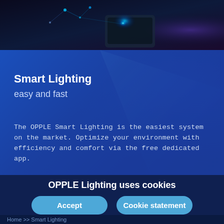[Figure (photo): Dark background with a glowing smart device/phone with light beams and network dots, suggesting smart technology, teal and purple lighting]
Smart Lighting
easy and fast
The OPPLE Smart Lighting is the easiest system on the market. Optimize your environment with efficiency and comfort via the free dedicated app.
OPPLE Lighting uses cookies
Accept
Cookie statement
Home >> Smart Lighting